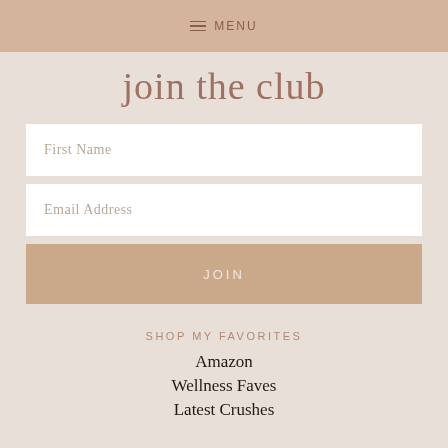≡ MENU
join the club
First Name
Email Address
JOIN
SHOP MY FAVORITES
Amazon
Wellness Faves
Latest Crushes